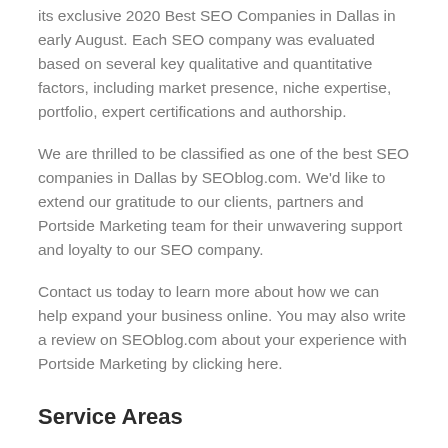its exclusive 2020 Best SEO Companies in Dallas in early August. Each SEO company was evaluated based on several key qualitative and quantitative factors, including market presence, niche expertise, portfolio, expert certifications and authorship.
We are thrilled to be classified as one of the best SEO companies in Dallas by SEOblog.com. We'd like to extend our gratitude to our clients, partners and Portside Marketing team for their unwavering support and loyalty to our SEO company.
Contact us today to learn more about how we can help expand your business online. You may also write a review on SEOblog.com about your experience with Portside Marketing by clicking here.
Service Areas